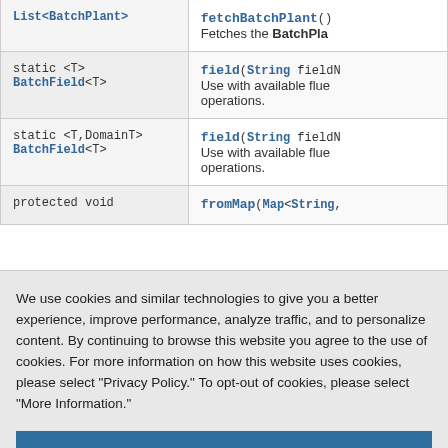| Return Type | Method / Description |
| --- | --- |
| List<BatchPlant> | fetchBatchPlant()
Fetches the BatchPla... |
| static <T> BatchField<T> | field(String fieldN...
Use with available flue... operations. |
| static <T,DomainT> BatchField<T> | field(String fieldN...
Use with available flue... operations. |
| protected void | fromMap(Map<String,... |
We use cookies and similar technologies to give you a better experience, improve performance, analyze traffic, and to personalize content. By continuing to browse this website you agree to the use of cookies. For more information on how this website uses cookies, please select "Privacy Policy." To opt-out of cookies, please select "More Information."
Accept Cookies
More Information
Privacy Policy | Powered by: TrustArc